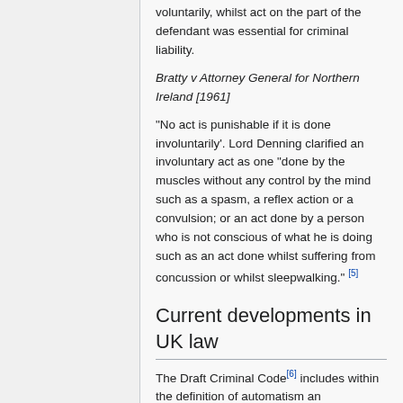voluntarily, whilst act on the part of the defendant was essential for criminal liability.
Bratty v Attorney General for Northern Ireland [1961]
“No act is punishable if it is done involuntarily’. Lord Denning clarified an involuntary act as one “done by the muscles without any control by the mind such as a spasm, a reflex action or a convulsion; or an act done by a person who is not conscious of what he is doing such as an act done whilst suffering from concussion or whilst sleepwalking.” [5]
Current developments in UK law
The Draft Criminal Code[6] includes within the definition of automatism an